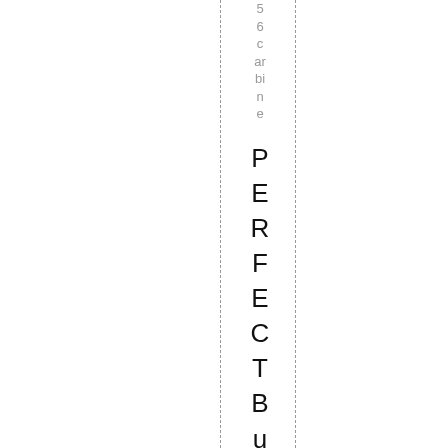56carbine PERFECTBugOutbagrifle or